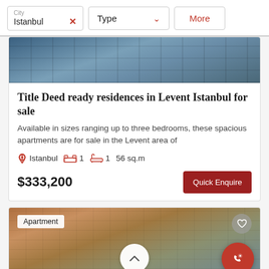City Istanbul | Type | More
[Figure (photo): Exterior of a modern multi-story building with glass facade, viewed from below]
Title Deed ready residences in Levent Istanbul for sale
Available in sizes ranging up to three bedrooms, these spacious apartments are for sale in the Levent area of
Istanbul  1  1  56 sq.m
$333,200
Quick Enquire
[Figure (photo): Exterior of a residential apartment building with warm toned facade, balconies and greenery, badge reading Apartment]